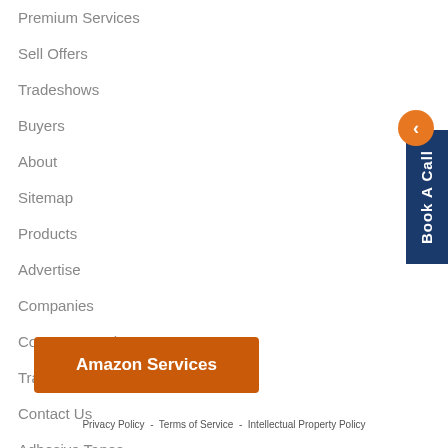Premium Services
Sell Offers
Tradeshows
Buyers
About
Sitemap
Products
Advertise
Companies
Country Search
Trade Alerts
Contact Us
Adhesive Tapes
[Figure (other): Orange circle button with left chevron arrow and vertical dark blue 'Book A Call' panel on right side]
[Figure (other): Orange button labeled 'Amazon Services']
Privacy Policy  -  Terms of Service  -  Intellectual Property Policy